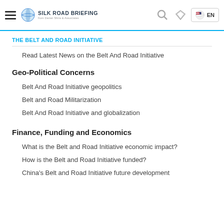Silk Road Briefing | EN
THE BELT AND ROAD INITIATIVE
Read Latest News on the Belt And Road Initiative
Geo-Political Concerns
Belt And Road Initiative geopolitics
Belt and Road Militarization
Belt And Road Initiative and globalization
Finance, Funding and Economics
What is the Belt and Road Initiative economic impact?
How is the Belt and Road Initiative funded?
China's Belt and Road Initiative future development